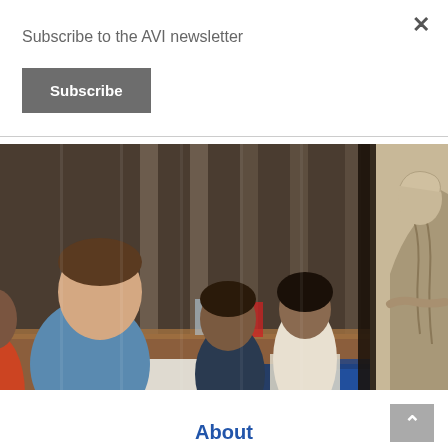Subscribe to the AVI newsletter
×
Subscribe
[Figure (photo): Students sitting around a table working and writing, with a large statue (Lincoln Memorial) visible on the right side of the composite image]
About